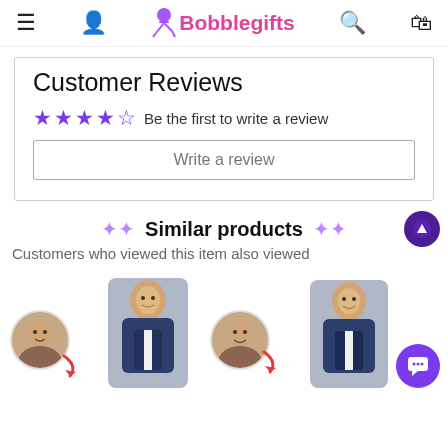Bobblegifts
Customer Reviews
Be the first to write a review
Write a review
Similar products
Customers who viewed this item also viewed
[Figure (photo): Two product photos showing custom bobblehead figures with face photos and arrows indicating the transformation]